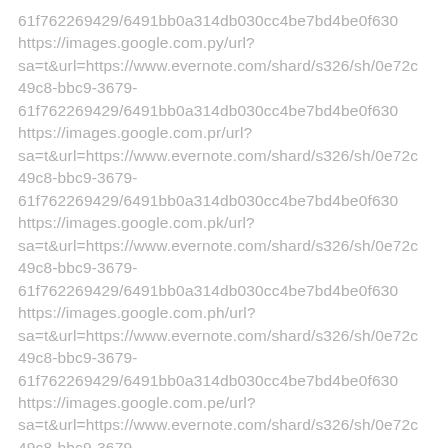61f762269429/6491bb0a314db030cc4be7bd4be0f630
https://images.google.com.py/url?
sa=t&url=https://www.evernote.com/shard/s326/sh/0e72c49c8-bbc9-3679-61f762269429/6491bb0a314db030cc4be7bd4be0f630
https://images.google.com.pr/url?
sa=t&url=https://www.evernote.com/shard/s326/sh/0e72c49c8-bbc9-3679-61f762269429/6491bb0a314db030cc4be7bd4be0f630
https://images.google.com.pk/url?
sa=t&url=https://www.evernote.com/shard/s326/sh/0e72c49c8-bbc9-3679-61f762269429/6491bb0a314db030cc4be7bd4be0f630
https://images.google.com.ph/url?
sa=t&url=https://www.evernote.com/shard/s326/sh/0e72c49c8-bbc9-3679-61f762269429/6491bb0a314db030cc4be7bd4be0f630
https://images.google.com.pe/url?
sa=t&url=https://www.evernote.com/shard/s326/sh/0e72c
49c8-bbc9-3679-